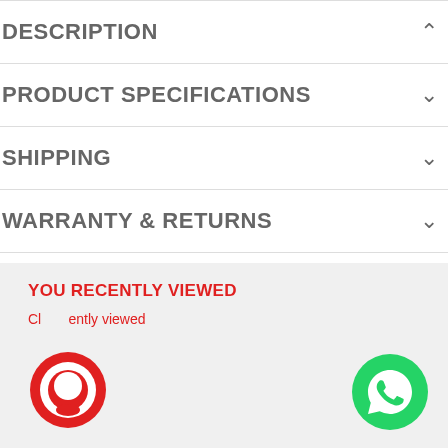DESCRIPTION
PRODUCT SPECIFICATIONS
SHIPPING
WARRANTY & RETURNS
YOU RECENTLY VIEWED
Clear recently viewed